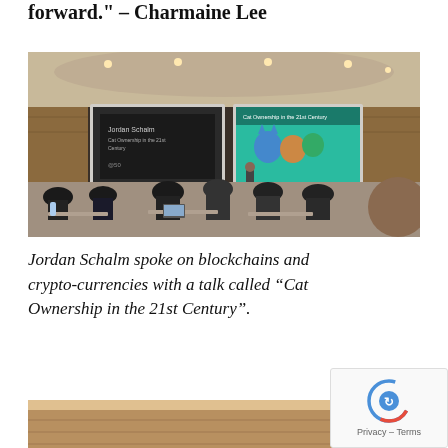forward." – Charmaine Lee
[Figure (photo): Lecture hall filled with students sitting at tables, facing a presenter at the front who stands near two projection screens. The left screen shows text including 'Jordan Schalm' and the right shows colorful cartoon cats with text 'Cat Ownership in the 21st Century'.]
Jordan Schalm spoke on blockchains and crypto-currencies with a talk called “Cat Ownership in the 21st Century”.
[Figure (photo): Partial view of a second photograph at the bottom of the page, showing what appears to be a room with wooden surfaces.]